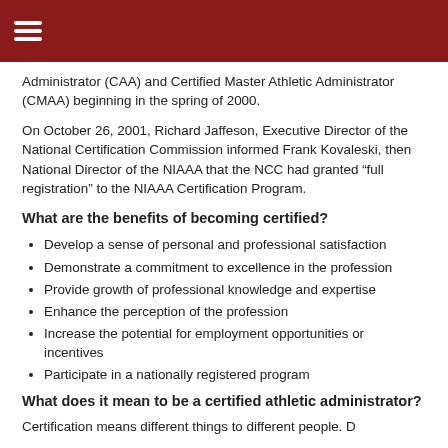Administrator (CAA) and Certified Master Athletic Administrator (CMAA) beginning in the spring of 2000.
On October 26, 2001, Richard Jaffeson, Executive Director of the National Certification Commission informed Frank Kovaleski, then National Director of the NIAAA that the NCC had granted “full registration” to the NIAAA Certification Program.
What are the benefits of becoming certified?
Develop a sense of personal and professional satisfaction
Demonstrate a commitment to excellence in the profession
Provide growth of professional knowledge and expertise
Enhance the perception of the profession
Increase the potential for employment opportunities or incentives
Participate in a nationally registered program
What does it mean to be a certified athletic administrator?
Certification means different things to different people. D...